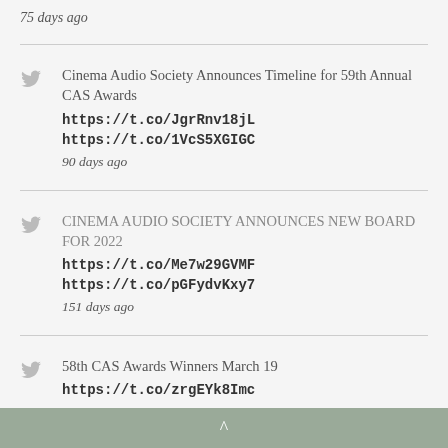75 days ago
Cinema Audio Society Announces Timeline for 59th Annual CAS Awards
https://t.co/JgrRnv18jL
https://t.co/1VcS5XGIGC
90 days ago
CINEMA AUDIO SOCIETY ANNOUNCES NEW BOARD FOR 2022
https://t.co/Me7w29GVMF
https://t.co/pGFydvKxy7
151 days ago
58th CAS Awards Winners March 19
https://t.co/zrgEYk8Imc
^